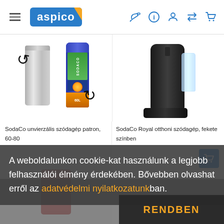aspico — navigation header with hamburger menu, logo, and icons
[Figure (photo): SodaCo universal CO2 cylinders (silver and branded) with exchange arrows]
[Figure (photo): SodaCo Royal home soda machine in black color]
SodaCo unvierzális szódagép patron, 60-80
SodaCo Royal otthoni szódagép, fekete színben
A weboldalunkon cookie-kat használunk a legjobb felhasználói élmény érdekében. Bővebben olvashat erről az adatvédelmi nyilatkozatunkban.
RENDBEN